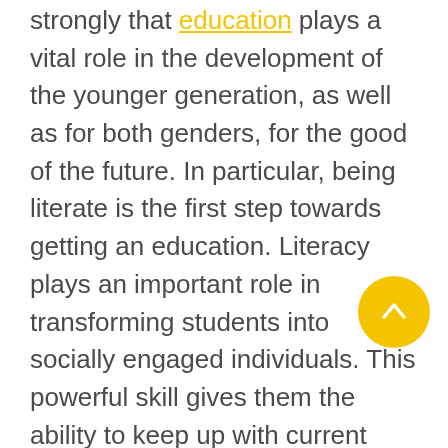strongly that education plays a vital role in the development of the younger generation, as well as for both genders, for the good of the future. In particular, being literate is the first step towards getting an education. Literacy plays an important role in transforming students into socially engaged individuals. This powerful skill gives them the ability to keep up with current affairs, communicate effectively and understand the issues that are shaping our world.
Support our Back to School camp and our efforts to transform the lives of underprivileged children in Singapore by providing them with access to quality education - their first step